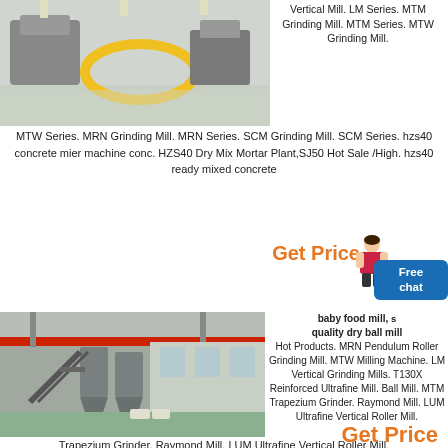[Figure (photo): Industrial grinding mill equipment in a factory setting with large machinery and polished floor.]
Vertical Mill. LM Series. MTM Grinding Mill. MTM Series. MTW Grinding Mill. MTW Series. MRN Grinding Mill. MRN Series. SCM Grinding Mill. SCM Series. hzs40 concrete mier machine conc. HZS40 Dry Mix Mortar Plant,SJ50 Hot Sale /High. hzs40 ready mixed concrete
Get Price
[Figure (photo): Large industrial facility interior with overhead crane, processing equipment, conveyor and silos on polished green floor.]
baby food mill, quality dry ball mill
Hot Products. MRN Pendulum Roller Grinding Mill. MTW Milling Machine. LM Vertical Grinding Mills. T130X Reinforced Ultrafine Mill. Ball Mill. MTM Trapezium Grinder. Raymond Mill. LUM Ultrafine Vertical Roller Mill.
Trapezium Grinder. Raymond Mill. LUM Ultrafine Vertical Roller Mill.
Get Price